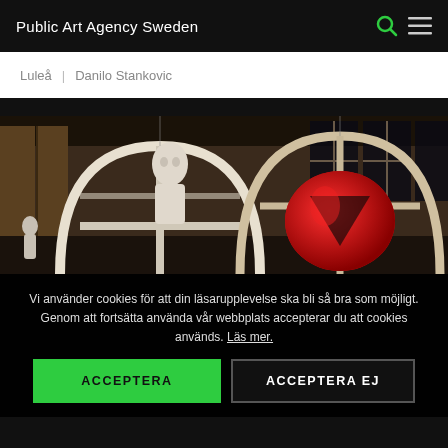Public Art Agency Sweden
Luleå  |  Danilo Stankovic
[Figure (photo): Indoor installation artwork featuring large white sculptural wheel/arch forms with a white figurative bust, and a bright red sculptural element, in a gallery or public building interior.]
Vi använder cookies för att din läsarupplevelse ska bli så bra som möjligt. Genom att fortsätta använda vår webbplats accepterar du att cookies används. Läs mer.
ACCEPTERA
ACCEPTERA EJ